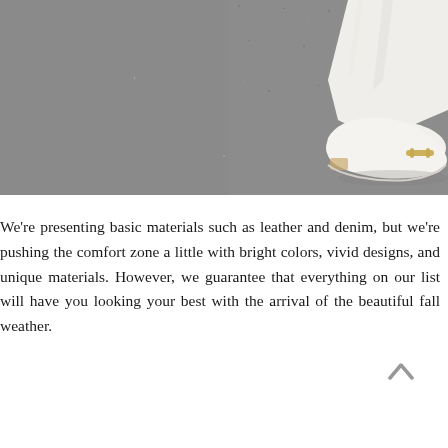[Figure (photo): Cropped photo showing a white leather loafer/moccasin shoe with a gold horsebit detail on the toe, worn over white trousers, on a grey asphalt/concrete surface. Only the lower part of the leg and shoe is visible.]
We're presenting basic materials such as leather and denim, but we're pushing the comfort zone a little with bright colors, vivid designs, and unique materials. However, we guarantee that everything on our list will have you looking your best with the arrival of the beautiful fall weather.